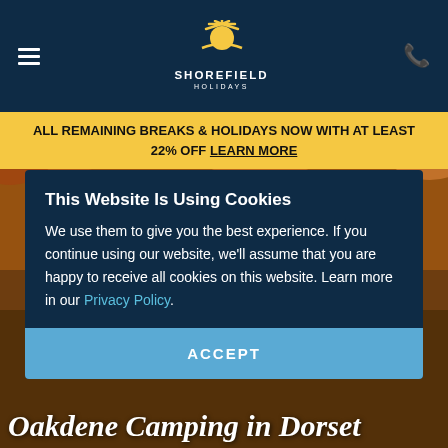Shorefield Holidays — navigation header with hamburger menu and phone icon
ALL REMAINING BREAKS & HOLIDAYS NOW WITH AT LEAST 22% OFF LEARN MORE
[Figure (photo): Aerial photo of a tent surrounded by autumn-coloured trees in warm golden light, outdoor camping scene in Dorset]
This Website Is Using Cookies
We use them to give you the best experience. If you continue using our website, we'll assume that you are happy to receive all cookies on this website. Learn more in our Privacy Policy.
ACCEPT
Oakdene Camping in Dorset